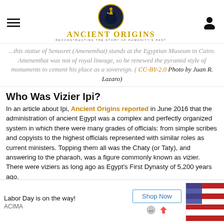Ancient Origins — Reconstructing the Story of Humanity's Past
...this statue of Senusret (Amenemhat) stands at the Egyptian Museum in Cairo. Amenemhat was not of royal lineage, so he renewed the pyramid style of monuments to cement his place as a sovereign. ( CC-BY-2.0 Photo by Juan R. Lazaro)
Who Was Vizier Ipi?
In an article about Ipi, Ancient Origins reported in June 2016 that the administration of ancient Egypt was a complex and perfectly organized system in which there were many grades of officials: from simple scribes and copyists to the highest officials represented with similar roles as current ministers. Topping them all was the Chaty (or Taty), and answering to the pharaoh, was a figure commonly known as vizier. There were viziers as long ago as Egypt's First Dynasty of 5,200 years ago.
Labor Day is on the way!  Shop Now  ACIMA